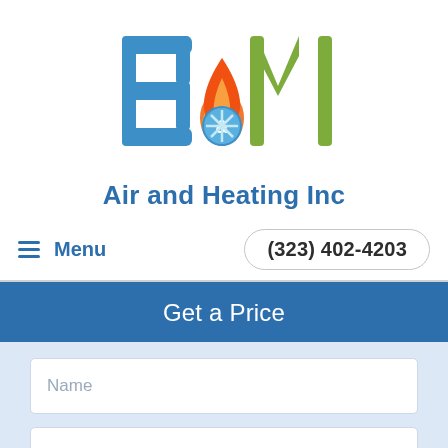[Figure (logo): B&M Air and Heating Inc logo with stylized letters B and M with flame and snowflake icon]
Air and Heating Inc
Menu
(323) 402-4203
Get a Price
Name
Email
Phone Number